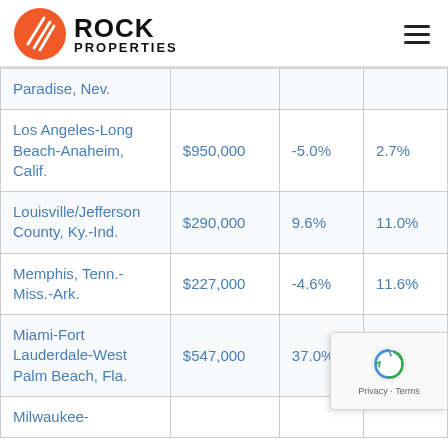Rock Properties
| Paradise, Nev. |  |  |  |
| Los Angeles-Long Beach-Anaheim, Calif. | $950,000 | -5.0% | 2.7% |
| Louisville/Jefferson County, Ky.-Ind. | $290,000 | 9.6% | 11.0% |
| Memphis, Tenn.-Miss.-Ark. | $227,000 | -4.6% | 11.6% |
| Miami-Fort Lauderdale-West Palm Beach, Fla. | $547,000 | 37.0% | 25.0% |
| Milwaukee- |  |  |  |